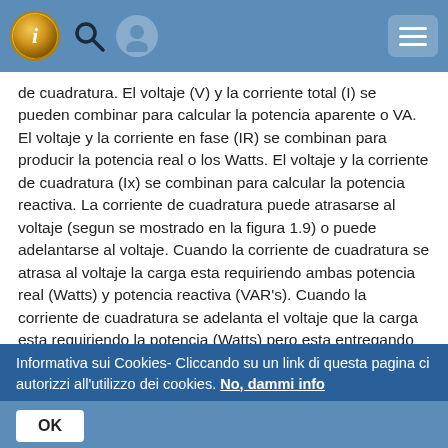Navigation bar with info icon, search icon, user icon, and menu button
de cuadratura. El voltaje (V) y la corriente total (I) se pueden combinar para calcular la potencia aparente o VA. El voltaje y la corriente en fase (IR) se combinan para producir la potencia real o los Watts. El voltaje y la corriente de cuadratura (Ix) se combinan para calcular la potencia reactiva. La corriente de cuadratura puede atrasarse al voltaje (segun se mostrado en la figura 1.9) o puede adelantarse al voltaje. Cuando la corriente de cuadratura se atrasa al voltaje la carga esta requiriendo ambas potencia real (Watts) y potencia reactiva (VAR's). Cuando la corriente de cuadratura se adelanta el voltaje que la carga esta requiriendo la potencia (Watts) pero esta entregando potencia reactiva (VAR's) de regreso al sistema; son los VAR's que estan fluyendo en la direccion opuesta del flujo de la potencia real. ? La potencia reactiva
Informativa sui Cookies- Cliccando su un link di questa pagina ci autorizzi all'utilizzo dei cookies. No, dammi info
OK